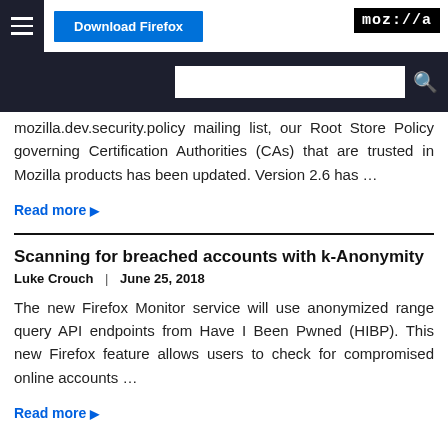Download Firefox | moz://a
mozilla.dev.security.policy mailing list, our Root Store Policy governing Certification Authorities (CAs) that are trusted in Mozilla products has been updated. Version 2.6 has ...
Read more ▶
Scanning for breached accounts with k-Anonymity
Luke Crouch | June 25, 2018
The new Firefox Monitor service will use anonymized range query API endpoints from Have I Been Pwned (HIBP). This new Firefox feature allows users to check for compromised online accounts ...
Read more ▶